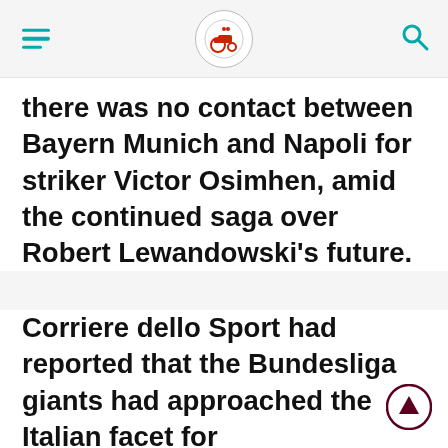[hamburger menu] [logo] [search icon]
there was no contact between Bayern Munich and Napoli for striker Victor Osimhen, amid the continued saga over Robert Lewandowski's future.
Corriere dello Sport had reported that the Bundesliga giants had approached the Italian facet for